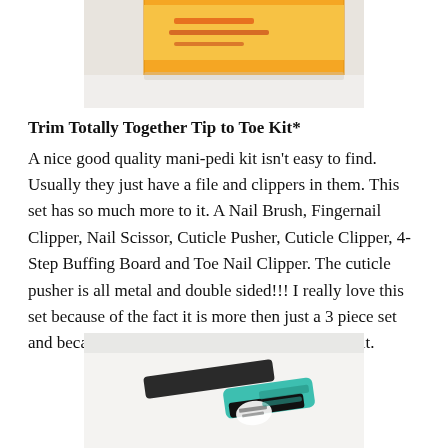[Figure (photo): Top portion of an orange product box on a white surface]
Trim Totally Together Tip to Toe Kit*
A nice good quality mani-pedi kit isn't easy to find. Usually they just have a file and clippers in them. This set has so much more to it. A Nail Brush, Fingernail Clipper, Nail Scissor, Cuticle Pusher, Cuticle Clipper, 4-Step Buffing Board and Toe Nail Clipper. The cuticle pusher is all metal and double sided!!! I really love this set because of the fact it is more then just a 3 piece set and because of the quality of the products inside it.
[Figure (photo): Nail care tools including a teal/turquoise handled clipper and black nail file on a white surface]